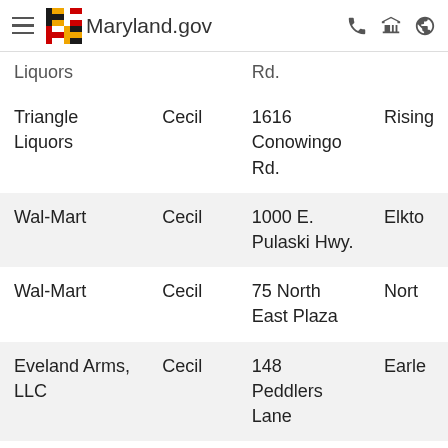Maryland.gov
| Name | County | Address | City |
| --- | --- | --- | --- |
| Liquors |  | Rd. |  |
| Triangle Liquors | Cecil | 1616 Conowingo Rd. | Rising… |
| Wal-Mart | Cecil | 1000 E. Pulaski Hwy. | Elkto… |
| Wal-Mart | Cecil | 75 North East Plaza | Nort… |
| Eveland Arms, LLC | Cecil | 148 Peddlers Lane | Earle… |
| Cliff's Liquors | Harford | 4725 Conowingo Rd. | Darli… |